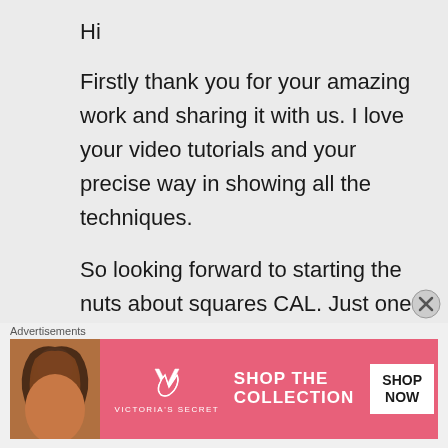Hi
Firstly thank you for your amazing work and sharing it with us. I love your video tutorials and your precise way in showing all the techniques.
So looking forward to starting the nuts about squares CAL. Just one thing I can't seem to see , or maybe I'm not looking hard
Advertisements
[Figure (photo): Victoria's Secret advertisement banner with a woman's photo on the left, VS logo in center, 'SHOP THE COLLECTION' text, and 'SHOP NOW' button on the right, pink background.]